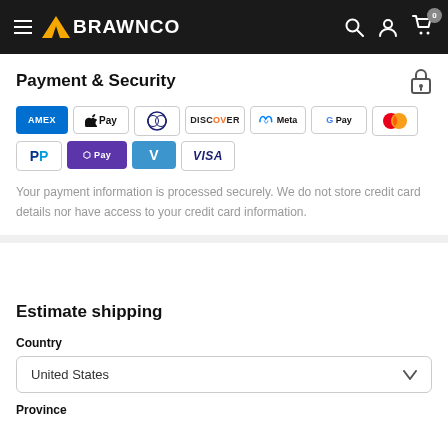BRAWNCO
Payment & Security
[Figure (other): Payment method logos: AMEX, Apple Pay, Diners Club, Discover, Meta Pay, Google Pay, Mastercard, PayPal, Shop Pay, Venmo, Visa]
Your payment information is processed securely. We do not store credit card details nor have access to your credit card information.
Estimate shipping
Country
United States
Province